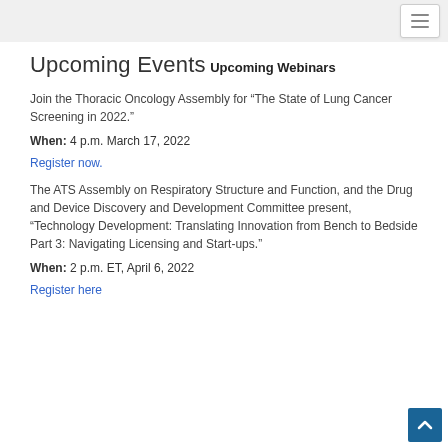Upcoming Events
Upcoming Webinars
Join the Thoracic Oncology Assembly for “The State of Lung Cancer Screening in 2022.”
When: 4 p.m. March 17, 2022
Register now.
The ATS Assembly on Respiratory Structure and Function, and the Drug and Device Discovery and Development Committee present, “Technology Development: Translating Innovation from Bench to Bedside Part 3: Navigating Licensing and Start-ups.”
When: 2 p.m. ET, April 6, 2022
Register here